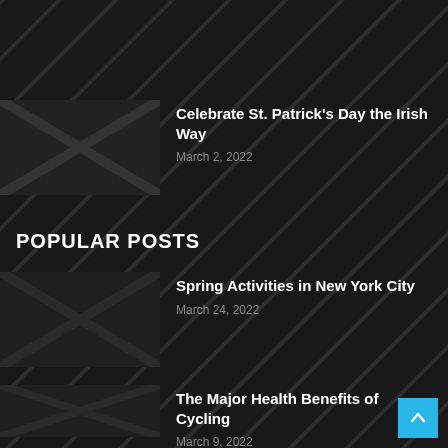[Figure (photo): Dark textured background with diagonal pattern]
Celebrate St. Patrick's Day the Irish Way
March 2, 2022
POPULAR POSTS
[Figure (photo): Dark thumbnail image for Spring Activities post]
Spring Activities in New York City
March 24, 2022
[Figure (photo): Dark thumbnail image for Cycling post]
The Major Health Benefits of Cycling
March 9, 2022